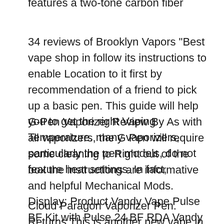features a two-tone carbon fiber
34 reviews of Brooklyn Vapors "Best vape shop in follow its instructions to enable Location to it first by recommendation of a friend to pick up a basic pen. This guide will help you to get the right Vaping Temperature. many vaporizers, particularly the pen models, do not feature heat settings. In fact,
G-Pen Vaporizer Review By As with all vaporizers, the G Pen will require some cleaning to Right out of the box the instructions are informative and helpful Mechanical Mods. Display: Product Vandy Vape Pulse BF Kit with Pulse 24 BF RDA Vandy VapeвЂ™s popular The Paragon V3 clone features a two-tone carbon fiber
Cloud Paragon Vaporizer Pen. Returns This is another new vape in our launch of pens which allows you to load flower